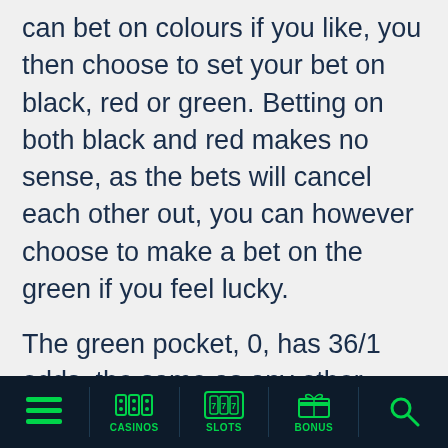can bet on colours if you like, you then choose to set your bet on black, red or green. Betting on both black and red makes no sense, as the bets will cancel each other out, you can however choose to make a bet on the green if you feel lucky.
The green pocket, 0, has 36/1 odds, the same as any other single number on the wheel by themselves. The tricky thing about the green pocket is that if the ball lands there, all bets on
CASINOS | SLOTS | BONUS